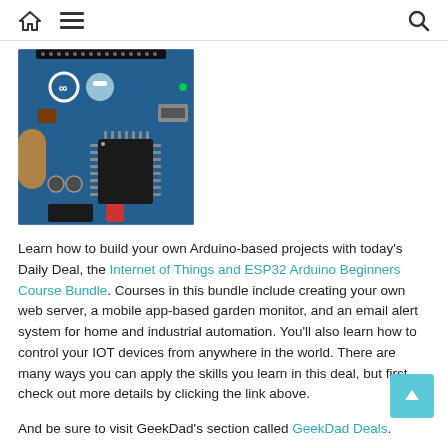Home | Menu | Search
[Figure (photo): Close-up photo of an Arduino microcontroller board showing the blue PCB with components, connectors, and the Arduino logo.]
Learn how to build your own Arduino-based projects with today's Daily Deal, the Internet of Things and ESP32 Arduino Beginners Course Bundle. Courses in this bundle include creating your own web server, a mobile app-based garden monitor, and an email alert system for home and industrial automation. You'll also learn how to control your IOT devices from anywhere in the world. There are many ways you can apply the skills you learn in this deal, but first, check out more details by clicking the link above.
And be sure to visit GeekDad's section called GeekDad Deals.